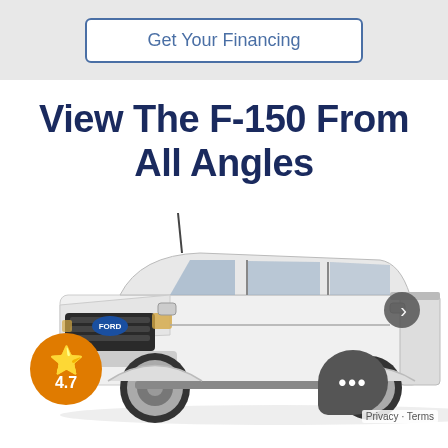Get Your Financing
View The F-150 From All Angles
[Figure (photo): White Ford F-150 pickup truck shown from a front three-quarter angle on a white background, with a 4.7 star rating badge overlaid on the bottom left and a chat bubble icon on the bottom right, plus a right-arrow navigation button on the right side.]
Privacy · Terms